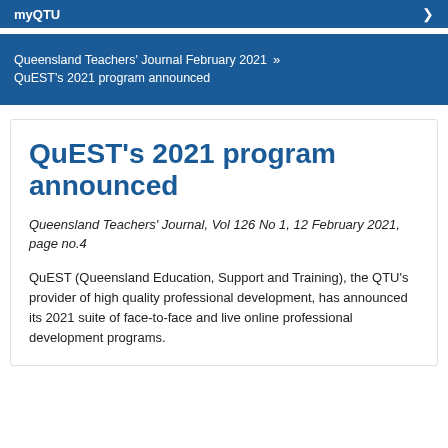myQTU
Queensland Teachers' Journal February 2021 » QuEST's 2021 program announced
QuEST's 2021 program announced
Queensland Teachers' Journal, Vol 126 No 1, 12 February 2021, page no.4
QuEST (Queensland Education, Support and Training), the QTU's provider of high quality professional development, has announced its 2021 suite of face-to-face and live online professional development programs.